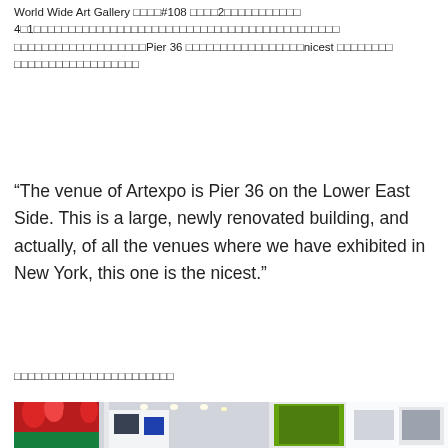World Wide Art Gallery □□□□#108 □□□□2□□□□□□□□□□□ 4□1□□□□□□□□□□□□□□□□□□□□□□□□□□□□□□□□□□□□□□□□□□□□ □□□□□□□□□□□□□□□□□□□Pier 36 □□□□□□□□□□□□□□□□□nicest □□□□□□□□ □□□□□□□□□□□□□□□□□□
“The venue of Artexpo is Pier 36 on the Lower East Side. This is a large, newly renovated building, and actually, of all the venues where we have exhibited in New York, this one is the nicest.”
□□□□□□□□□□□□□□□□□□□□□□
[Figure (photo): Interior photo of an art gallery/expo showing multiple booths and artworks displayed on white walls, including a large red tulip painting on the left, various framed works, and gallery visitors browsing.]